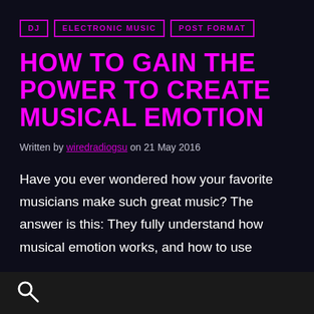DJ
ELECTRONIC MUSIC
POST FORMAT
HOW TO GAIN THE POWER TO CREATE MUSICAL EMOTION
Written by wiredradiogsu on 21 May 2016
Have you ever wondered how your favorite musicians make such great music? The answer is this: They fully understand how musical emotion works, and how to use
[Figure (other): Search icon (magnifying glass) in white on dark footer bar]